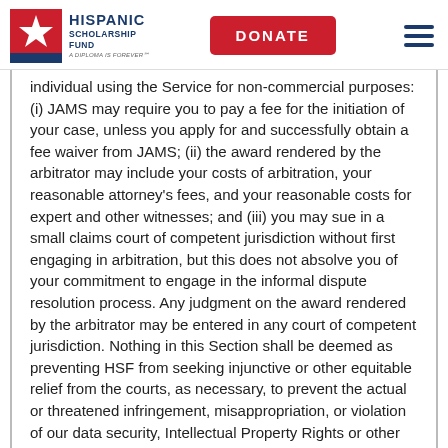Hispanic Scholarship Fund — DONATE — Navigation menu
individual using the Service for non-commercial purposes: (i) JAMS may require you to pay a fee for the initiation of your case, unless you apply for and successfully obtain a fee waiver from JAMS; (ii) the award rendered by the arbitrator may include your costs of arbitration, your reasonable attorney's fees, and your reasonable costs for expert and other witnesses; and (iii) you may sue in a small claims court of competent jurisdiction without first engaging in arbitration, but this does not absolve you of your commitment to engage in the informal dispute resolution process. Any judgment on the award rendered by the arbitrator may be entered in any court of competent jurisdiction. Nothing in this Section shall be deemed as preventing HSF from seeking injunctive or other equitable relief from the courts, as necessary, to prevent the actual or threatened infringement, misappropriation, or violation of our data security, Intellectual Property Rights or other